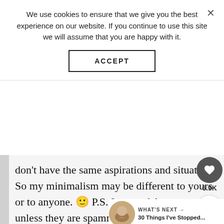We use cookies to ensure that we give you the best experience on our website. If you continue to use this site we will assume that you are happy with it.
ACCEPT
don't have the same aspirations and situations. So my minimalism may be different to yours or to anyone. 🙂 P.S. I never delete comments unless they are spammy. I see three same comments from you on this post, so the first comment probably didn't show right away and you thought I deleted it. 🙂 But thank you for
6.9K
WHAT'S NEXT → 30 Things I've Stopped...